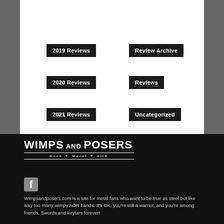2019 Reviews
Review Archive
2020 Reviews
Reviews
2021 Reviews
Uncategorized
[Figure (logo): Wimps and Posers logo — Rock + Metal + AOR]
[Figure (illustration): Facebook icon]
Wimpsandposers.com is a site for metal fans who want to be true as steel but like way too many wimpy AOR bands. It's OK, you're still a warrior, and you're among friends. Swords and keytars forever!